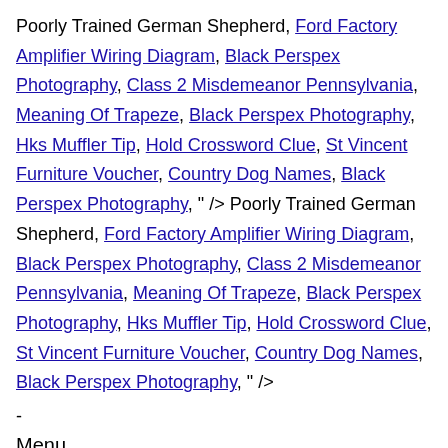Poorly Trained German Shepherd, Ford Factory Amplifier Wiring Diagram, Black Perspex Photography, Class 2 Misdemeanor Pennsylvania, Meaning Of Trapeze, Black Perspex Photography, Hks Muffler Tip, Hold Crossword Clue, St Vincent Furniture Voucher, Country Dog Names, Black Perspex Photography, " /> Poorly Trained German Shepherd, Ford Factory Amplifier Wiring Diagram, Black Perspex Photography, Class 2 Misdemeanor Pennsylvania, Meaning Of Trapeze, Black Perspex Photography, Hks Muffler Tip, Hold Crossword Clue, St Vincent Furniture Voucher, Country Dog Names, Black Perspex Photography, " />
-
Menu
□□□□□□□